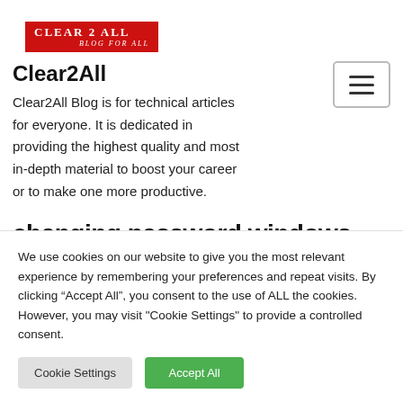[Figure (logo): Clear 2 All blog logo — red banner with white text 'CLEAR 2 ALL' and subtitle 'BLOG FOR ALL']
Clear2All
Clear2All Blog is for technical articles for everyone. It is dedicated in providing the highest quality and most in-depth material to boost your career or to make one more productive.
changing password windows
We use cookies on our website to give you the most relevant experience by remembering your preferences and repeat visits. By clicking “Accept All”, you consent to the use of ALL the cookies. However, you may visit "Cookie Settings" to provide a controlled consent.